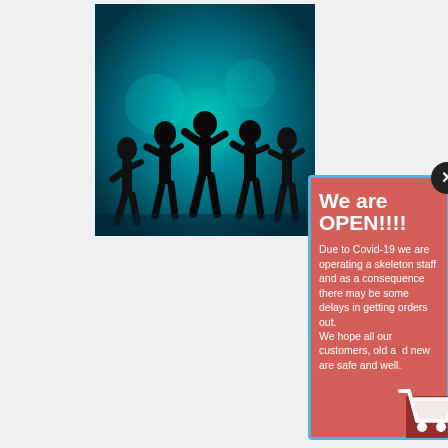[Figure (photo): Silhouette of people dancing with teal/green lighting background]
11 12:25
d my son
is week
c of
nd partying.
ght with a
ots of Glow Gel. We
scing in the
ays of
and
lectures!! We would love to know if you or your son or daughter has started Freshers Week and how the
[Figure (screenshot): Popup modal with salmon/red background and blue border showing 'We are OPEN!!!!' message about Covid-19 operations, with shopping cart icon and X close button]
We are OPEN!!!!
Due to Covid-19 we are operating a skeleton staff and as a consequence there may be some delays in getting orders out. We hope all our customers, old and new are safe and well.